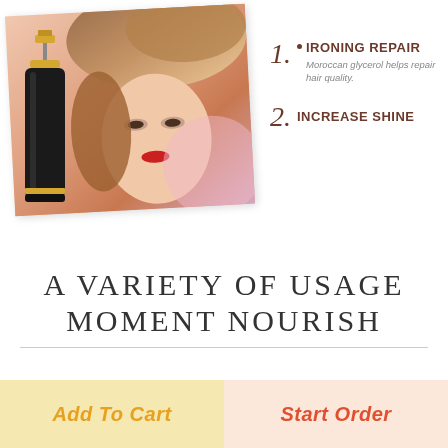[Figure (photo): Promotional product image showing a black hair serum/oil bottle on the left, and a woman with styled brown hair and red lips on the right, on a light pink/peach background]
1. IRONING REPAIR
Moroccan glycerol helps repair hair quality.
2. INCREASE SHINE
A VARIETY OF USAGE MOMENT NOURISH
Add To Cart
Start Order